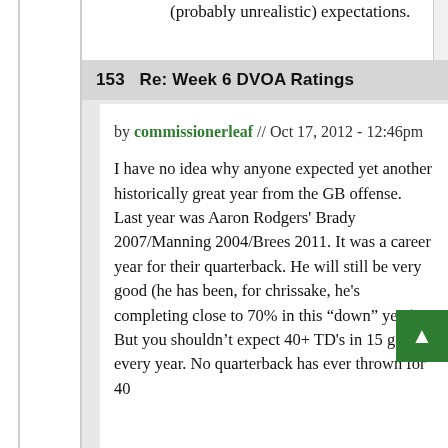(probably unrealistic) expectations.
153   Re: Week 6 DVOA Ratings
by commissionerleaf // Oct 17, 2012 - 12:46pm
I have no idea why anyone expected yet another historically great year from the GB offense. Last year was Aaron Rodgers' Brady 2007/Manning 2004/Brees 2011. It was a career year for their quarterback. He will still be very good (he has been, for chrissake, he's completing close to 70% in this "down" year). But you shouldn't expect 40+ TD's in 15 games every year. No quarterback has ever thrown for 40...